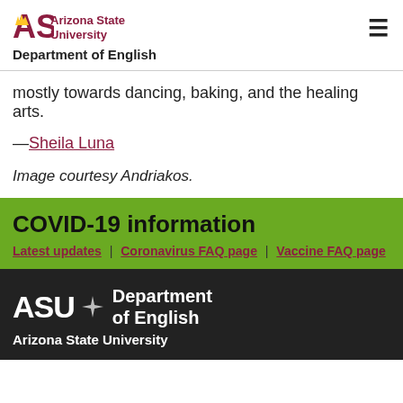ASU Arizona State University Department of English
mostly towards dancing, baking, and the healing arts.
—Sheila Luna
Image courtesy Andriakos.
COVID-19 information
Latest updates | Coronavirus FAQ page | Vaccine FAQ page
ASU Department of English Arizona State University